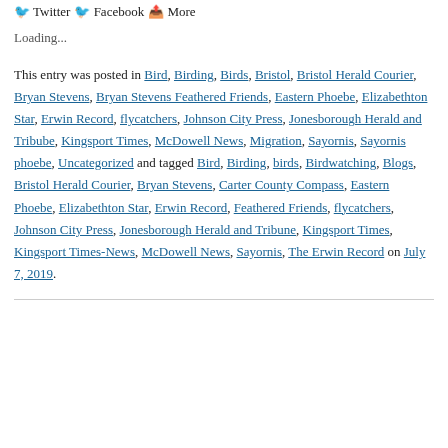Twitter  Facebook  More
Loading...
This entry was posted in Bird, Birding, Birds, Bristol, Bristol Herald Courier, Bryan Stevens, Bryan Stevens Feathered Friends, Eastern Phoebe, Elizabethton Star, Erwin Record, flycatchers, Johnson City Press, Jonesborough Herald and Tribube, Kingsport Times, McDowell News, Migration, Sayornis, Sayornis phoebe, Uncategorized and tagged Bird, Birding, birds, Birdwatching, Blogs, Bristol Herald Courier, Bryan Stevens, Carter County Compass, Eastern Phoebe, Elizabethton Star, Erwin Record, Feathered Friends, flycatchers, Johnson City Press, Jonesborough Herald and Tribune, Kingsport Times, Kingsport Times-News, McDowell News, Sayornis, The Erwin Record on July 7, 2019.